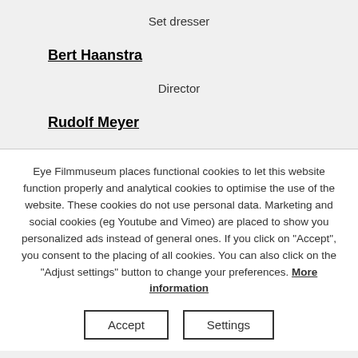Set dresser
Bert Haanstra
Director
Rudolf Meyer
Producer
Piet van Moock
Eye Filmmuseum places functional cookies to let this website function properly and analytical cookies to optimise the use of the website. These cookies do not use personal data. Marketing and social cookies (eg Youtube and Vimeo) are placed to show you personalized ads instead of general ones. If you click on "Accept", you consent to the placing of all cookies. You can also click on the "Adjust settings" button to change your preferences. More information
Accept
Settings